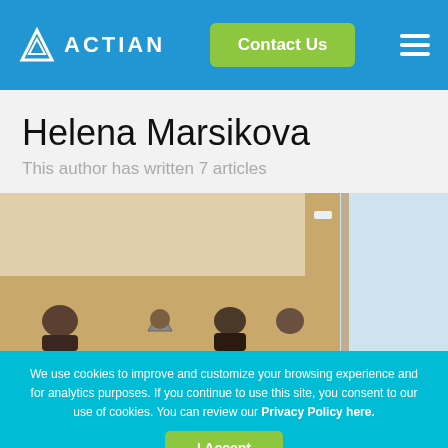ACTIAN | Contact Us
Helena Marsikova
This author has written 7 articles
[Figure (photo): Photo of a group of people in an office room with beige walls and a window on the right]
We use cookies to improve and customize your browsing experience and for analytics purposes. If you continue to use this site, you consent to our use of cookies. You can review our Privacy Policy here.
I Accept